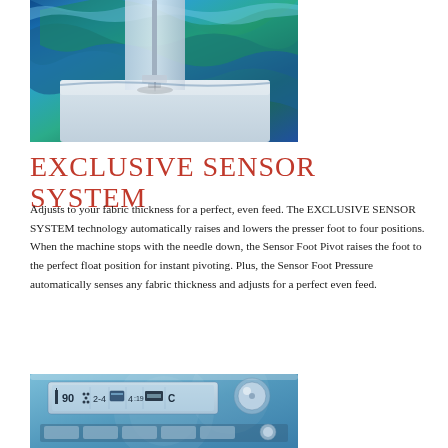[Figure (photo): Close-up photograph of a sewing machine needle area with colorful blue and green fabric being sewn on a white machine surface.]
EXCLUSIVE SENSOR SYSTEM
Adjusts to your fabric thickness for a perfect, even feed. The EXCLUSIVE SENSOR SYSTEM technology automatically raises and lowers the presser foot to four positions. When the machine stops with the needle down, the Sensor Foot Pivot raises the foot to the perfect float position for instant pivoting. Plus, the Sensor Foot Pressure automatically senses any fabric thickness and adjusts for a perfect even feed.
[Figure (photo): Close-up photograph of a sewing machine control panel showing a digital display with icons including the number 90, stitch symbols, 2-4, a card icon, 4:19, and a stitch pattern labeled C, along with a round control dial on the right side.]